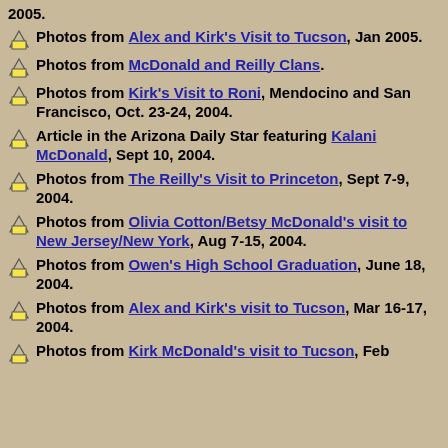Photos from Alex and Kirk's Visit to Tucson, Jan 2005.
Photos from McDonald and Reilly Clans.
Photos from Kirk's Visit to Roni, Mendocino and San Francisco, Oct. 23-24, 2004.
Article in the Arizona Daily Star featuring Kalani McDonald, Sept 10, 2004.
Photos from The Reilly's Visit to Princeton, Sept 7-9, 2004.
Photos from Olivia Cotton/Betsy McDonald's visit to New Jersey/New York, Aug 7-15, 2004.
Photos from Owen's High School Graduation, June 18, 2004.
Photos from Alex and Kirk's visit to Tucson, Mar 16-17, 2004.
Photos from Kirk McDonald's visit to Tucson, Feb 10, 2004.